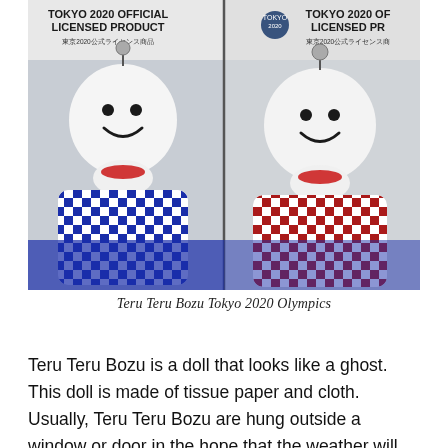[Figure (photo): Two Tokyo 2020 Official Licensed Product Teru Teru Bozu dolls in packaging. Left doll has blue checkered pattern body, right doll has red checkered pattern body. Both are white ghost-like dolls with smiley faces and red bow ties, shown against packaging with 'TOKYO 2020 OFFICIAL LICENSED PRODUCT' text and Japanese characters.]
Teru Teru Bozu Tokyo 2020 Olympics
Teru Teru Bozu is a doll that looks like a ghost. This doll is made of tissue paper and cloth. Usually, Teru Teru Bozu are hung outside a window or door in the hope that the weather will be sunny. Teru Teru B...